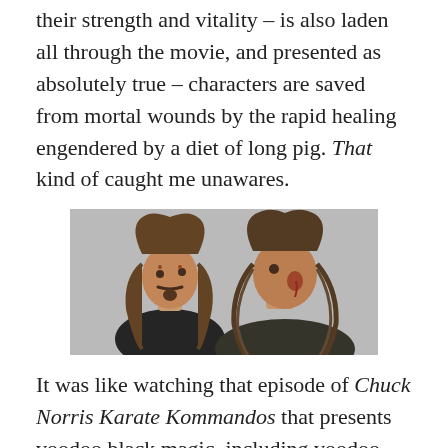their strength and vitality – is also laden all through the movie, and presented as absolutely true – characters are saved from mortal wounds by the rapid healing engendered by a diet of long pig. That kind of caught me unawares.
[Figure (photo): A still from a movie showing two men with long dreadlocked hair facing each other closely, one appearing wounded with blood on his face, set against a wintry blurred background.]
It was like watching that episode of Chuck Norris Karate Kommandos that presents voodoo black magic, including voodoo dolls and zombies, to be absolutely real, which is